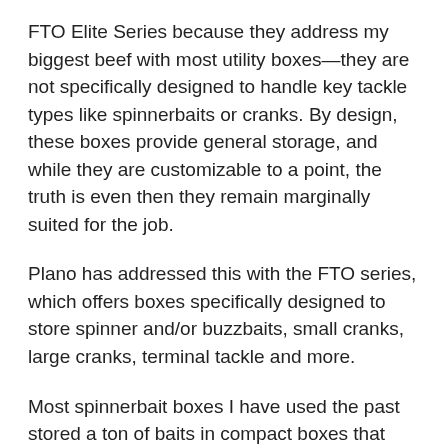FTO Elite Series because they address my biggest beef with most utility boxes—they are not specifically designed to handle key tackle types like spinnerbaits or cranks. By design, these boxes provide general storage, and while they are customizable to a point, the truth is even then they remain marginally suited for the job.
Plano has addressed this with the FTO series, which offers boxes specifically designed to store spinner and/or buzzbaits, small cranks, large cranks, terminal tackle and more.
Most spinnerbait boxes I have used the past stored a ton of baits in compact boxes that looked like what my mom used to use to hold her recipes. The problem was, when it came time to select a bait or two I found myself taking out several just to find the right skirt and blade combination because the box design hid both. The new Plano box hold up to 26 spinnerbaits and 13